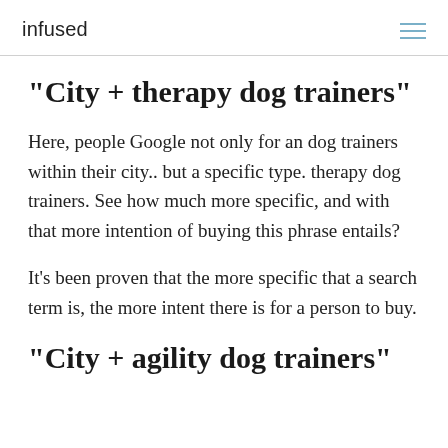infused
"City + therapy dog trainers"
Here, people Google not only for an dog trainers within their city.. but a specific type. therapy dog trainers. See how much more specific, and with that more intention of buying this phrase entails?
It's been proven that the more specific that a search term is, the more intent there is for a person to buy.
"City + agility dog trainers"